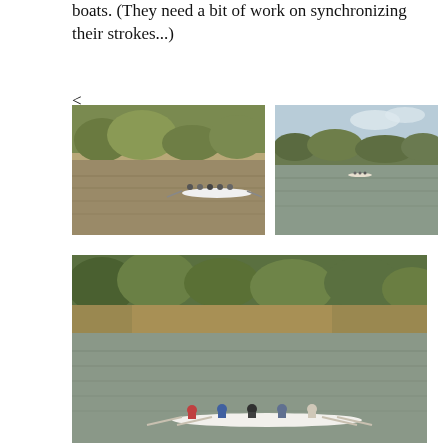boats. (They need a bit of work on synchronizing their strokes...)
<
[Figure (photo): Rowing boat with multiple rowers on a river with tree-lined bank, brown water]
[Figure (photo): Wide river scene with a small rowing boat visible in the distance, blue sky and trees reflected]
[Figure (photo): Wide river with green and brown banks and trees in background; rowing boat with several rowers visible at bottom of frame]